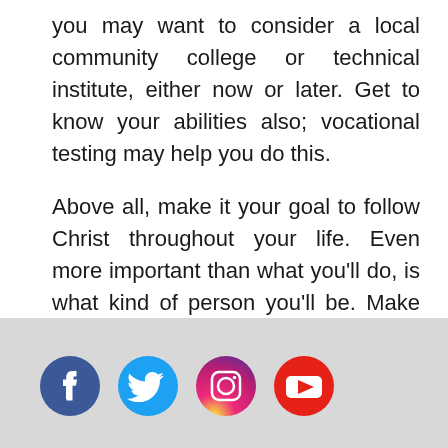you may want to consider a local community college or technical institute, either now or later. Get to know your abilities also; vocational testing may help you do this.
Above all, make it your goal to follow Christ throughout your life. Even more important than what you'll do, is what kind of person you'll be. Make the Bible your daily guide, because “Your word is a lamp for my feet, a light on my path” (Psalm 119:105).
[Figure (illustration): Four social media icons in a row: Facebook (dark blue circle with white f), Twitter (blue circle with white bird), Instagram (light pink/red circle with white camera outline), YouTube (red circle with white play button triangle)]